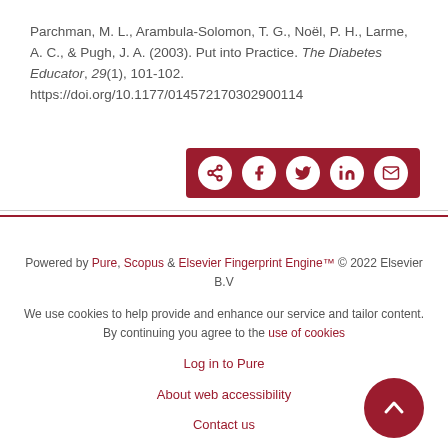Parchman, M. L., Arambula-Solomon, T. G., Noël, P. H., Larme, A. C., & Pugh, J. A. (2003). Put into Practice. The Diabetes Educator, 29(1), 101-102. https://doi.org/10.1177/014572170302900114
[Figure (other): Social share bar with icons for share, Facebook, Twitter, LinkedIn, and email on a dark red background]
Powered by Pure, Scopus & Elsevier Fingerprint Engine™ © 2022 Elsevier B.V
We use cookies to help provide and enhance our service and tailor content. By continuing you agree to the use of cookies
Log in to Pure
About web accessibility
Contact us